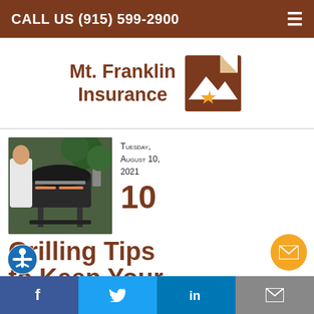CALL US (915) 599-2900
[Figure (logo): Mt. Franklin Insurance logo with brown mountain and star icon]
Tuesday, August 10, 2021
10
[Figure (photo): Person grilling on an outdoor BBQ grill with food on the grates]
Grilling Tips to Keep Your